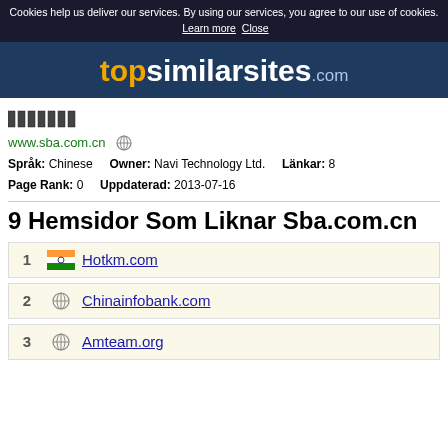Cookies help us deliver our services. By using our services, you agree to our use of cookies. Learn more  Close
[Figure (logo): topsimilarsites.com logo on dark blue background]
[Figure (other): Bar indicator graphic showing small vertical bars]
www.sba.com.cn (globe icon)
Språk: Chinese   Owner: Navi Technology Ltd.   Länkar: 8
Page Rank: 0   Uppdaterad: 2013-07-16
9 Hemsidor Som Liknar Sba.com.cn
1  Hotkm.com
2  Chinainfobank.com
3  Amteam.org